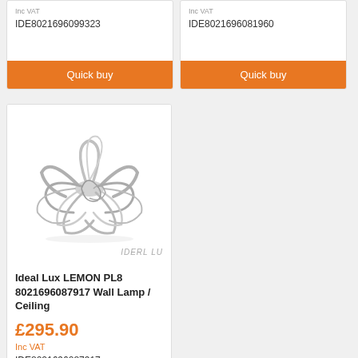Inc VAT
IDE8021696099323
Quick buy
Inc VAT
IDE8021696081960
Quick buy
[Figure (photo): Ideal Lux LEMON PL8 ceiling light fixture, chrome/silver finish with decorative curving metal arms, bird nest or floral design]
Ideal Lux LEMON PL8 8021696087917 Wall Lamp / Ceiling
£295.90
Inc VAT
IDE8021696087917